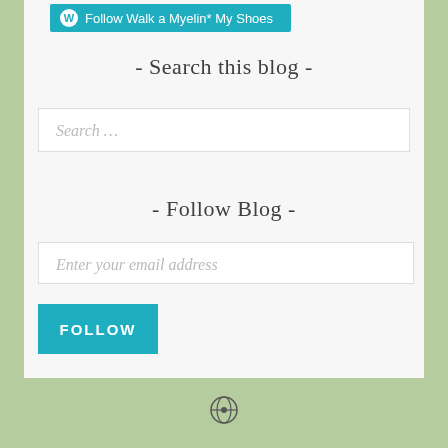[Figure (logo): WordPress Follow button: 'Follow Walk a Myelin* My Shoes' in teal/cyan background with WordPress W icon]
- Search this blog -
Search …
- Follow Blog -
Enter your email address
FOLLOW
[Figure (logo): WordPress circle logo icon at bottom of page]